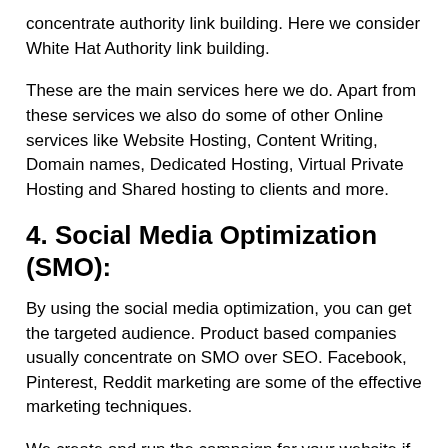concentrate authority link building. Here we consider White Hat Authority link building.
These are the main services here we do. Apart from these services we also do some of other Online services like Website Hosting, Content Writing, Domain names, Dedicated Hosting, Virtual Private Hosting and Shared hosting to clients and more.
4. Social Media Optimization (SMO):
By using the social media optimization, you can get the targeted audience. Product based companies usually concentrate on SMO over SEO. Facebook, Pinterest, Reddit marketing are some of the effective marketing techniques.
We create and run the campaign for your website if you need social media optimization.